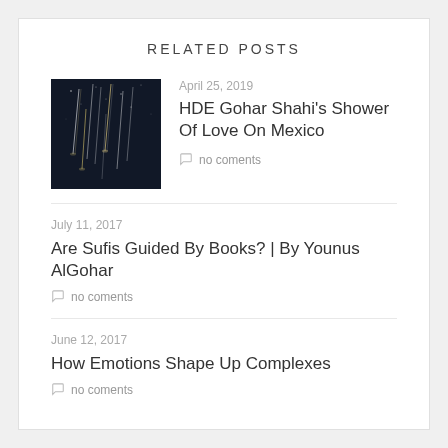RELATED POSTS
[Figure (photo): Dark night sky with falling meteor/rain streaks of light]
April 25, 2019
HDE Gohar Shahi's Shower Of Love On Mexico
no coments
July 11, 2017
Are Sufis Guided By Books? | By Younus AlGohar
no coments
June 12, 2017
How Emotions Shape Up Complexes
no coments